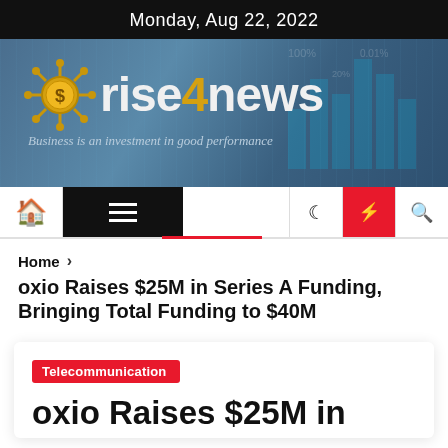Monday, Aug 22, 2022
[Figure (logo): rise4news logo with golden coin icon and tagline 'Business is an investment in good performance' on a dark blue banner background]
Home > oxio Raises $25M in Series A Funding, Bringing Total Funding to $40M
oxio Raises $25M in Series A Funding, Bringing Total Funding to $40M
Telecommunication
oxio Raises $25M in